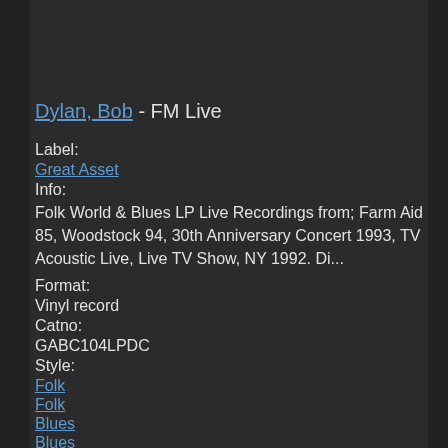Dylan, Bob - FM Live
Label:
Great Asset
Info:
Folk World & Blues LP Live Recordings from; Farm Aid 85, Woodstock 94, 30th Anniversary Concert 1993, TV Acoustic Live, Live TV Show, NY 1992. Di...
Format:
Vinyl record
Catno:
GABC104LPDC
Style:
Folk
Folk
Blues
Blues
World Music
World Music
Vinyl record condition: